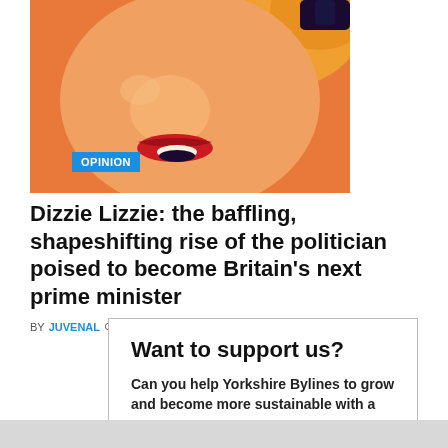[Figure (illustration): Close-up illustration of a woman's face with orange/blonde hair, red lips, and nail-polished fingers, with a blue 'OPINION' label badge overlaid at bottom-left of the image.]
Dizzie Lizzie: the baffling, shapeshifting rise of the politician poised to become Britain's next prime minister
BY JUVENAL  ⊙ 15 AUGUST 2022
Want to support us?
Can you help Yorkshire Bylines to grow and become more sustainable with a